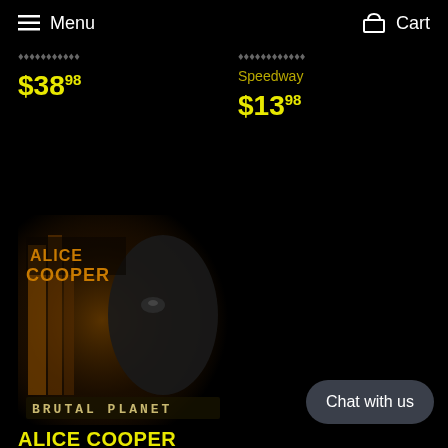Menu   Cart
$38.98
Speedway
$13.98
[Figure (photo): Alice Cooper - Brutal Planet album cover. Dark image showing Alice Cooper's face partially visible, with ornate text reading ALICE COOPER at top and BRUTAL PLANET at bottom in decorative lettering on a black background.]
ALICE COOPER
Brutal Planet